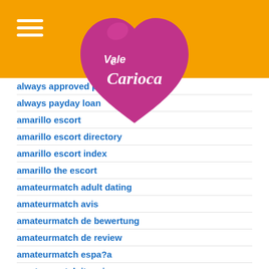[Figure (logo): Vale Carioca logo — pink heart shape with white cursive text 'Vale Carioca' on orange background header]
always approved payday loans
always payday loan
amarillo escort
amarillo escort directory
amarillo escort index
amarillo the escort
amateurmatch adult dating
amateurmatch avis
amateurmatch de bewertung
amateurmatch de review
amateurmatch espa?a
amateurmatch it reviews
amateurmatch przejrze?
amateurmatch recenzje